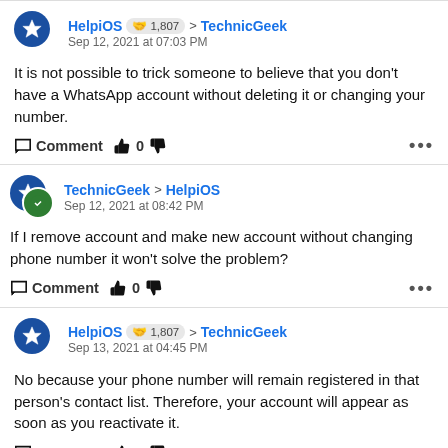HelpiOS 1,807 > TechnicGeek
Sep 12, 2021 at 07:03 PM
It is not possible to trick someone to believe that you don't have a WhatsApp account without deleting it or changing your number.
Comment 0
TechnicGeek > HelpiOS
Sep 12, 2021 at 08:42 PM
If I remove account and make new account without changing phone number it won't solve the problem?
Comment 0
HelpiOS 1,807 > TechnicGeek
Sep 13, 2021 at 04:45 PM
No because your phone number will remain registered in that person's contact list. Therefore, your account will appear as soon as you reactivate it.
Comment 0